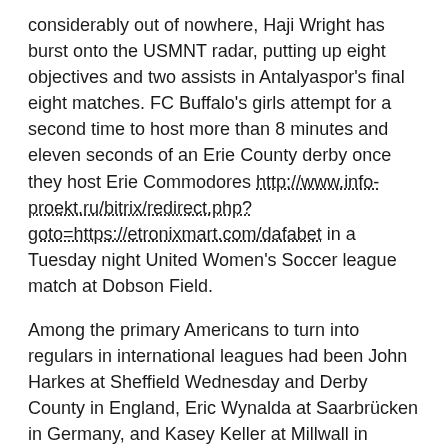considerably out of nowhere, Haji Wright has burst onto the USMNT radar, putting up eight objectives and two assists in Antalyaspor's final eight matches. FC Buffalo's girls attempt for a second time to host more than 8 minutes and eleven seconds of an Erie County derby once they host Erie Commodores http://www.info-proekt.ru/bitrix/redirect.php?goto=https://etronixmart.com/dafabet in a Tuesday night United Women's Soccer league match at Dobson Field.
Among the primary Americans to turn into regulars in international leagues had been John Harkes at Sheffield Wednesday and Derby County in England, Eric Wynalda at Saarbrücken in Germany, and Kasey Keller at Millwall in England. In addition to the World Cup, other worldwide soccer competitions involving the us group have turn into more popular amongst TV viewers.